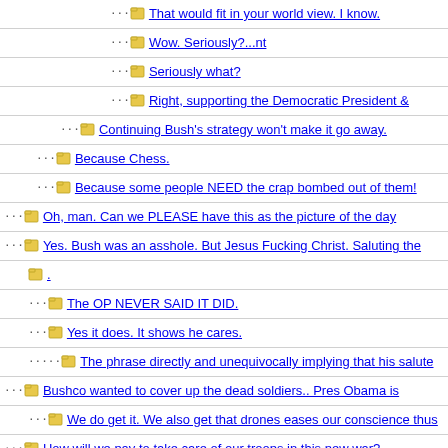That would fit in your world view. I know.
Wow. Seriously?...nt
Seriously what?
Right, supporting the Democratic President &
Continuing Bush's strategy won't make it go away.
Because Chess.
Because some people NEED the crap bombed out of them!
Oh, man. Can we PLEASE have this as the picture of the day
Yes. Bush was an asshole. But Jesus Fucking Christ. Saluting the
.
The OP NEVER SAID IT DID.
Yes it does. It shows he cares.
The phrase directly and unequivocally implying that his salute
Bushco wanted to cover up the dead soldiers.. Pres Obama is
We do get it. We also get that drones eases our conscience thus
How will we pay to take care of our troops in this new war?
Good stamps. Pay attention.
Oh yeah....
I hate auto-incorrect! Or maybe my fingers are too big
Gets me all the time!
Ain't that the truth!
Thanks for this!